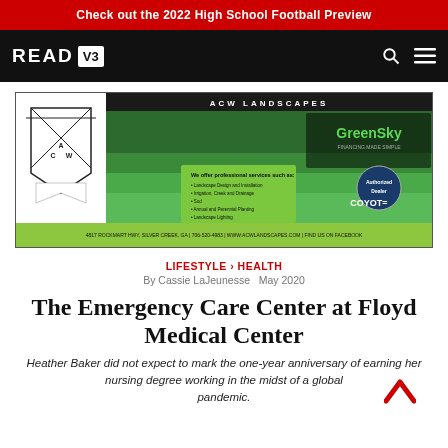Check out the 2022 High School Football Preview
READ V3
[Figure (photo): ACW Landscapes advertisement banner showing green lawn, GreenSky logo, Coyote Authorized Dealer badge, and contact info: 4817 Rockmart Hwy, Silver Creek, GA | 706-520-4983 | www.acwlandscapes.com | Find us on Facebook]
LIFESTYLE › HEALTH
By Cassie LaJeunesse   May 2020
The Emergency Care Center at Floyd Medical Center
Heather Baker did not expect to mark the one-year anniversary of earning her nursing degree working in the midst of a global pandemic.